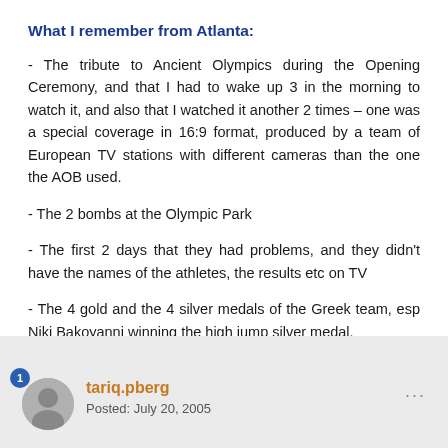What I remember from Atlanta:
- The tribute to Ancient Olympics during the Opening Ceremony, and that I had to wake up 3 in the morning to watch it, and also that I watched it another 2 times – one was a special coverage in 16:9 format, produced by a team of European TV stations with different cameras than the one the AOB used.
- The 2 bombs at the Olympic Park
- The first 2 days that they had problems, and they didn't have the names of the athletes, the results etc on TV
- The 4 gold and the 4 silver medals of the Greek team, esp Niki Bakoyanni winning the high jump silver medal.
- The torch relay - and the fact that for the first time since 1936 the Olympic Flame visited Thessaloniki -again-.
tariq.pberg
Posted: July 20, 2005